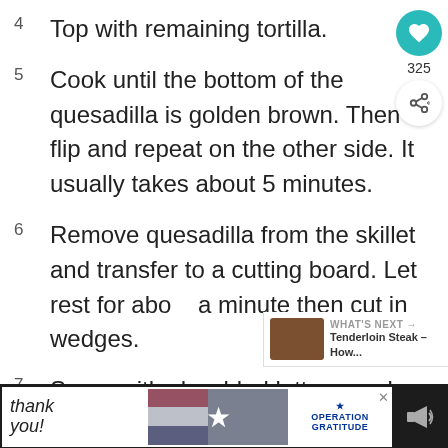4  Top with remaining tortilla.
5  Cook until the bottom of the quesadilla is golden brown. Then flip and repeat on the other side. It usually takes about 5 minutes.
6  Remove quesadilla from the skillet and transfer to a cutting board. Let rest for about a minute then cut in wedges.
7  Serve with shredded lettuce and diced tomatoes. You can also dip them in extra ranch if you'd like!
[Figure (infographic): Green Cookie Dough advertisement banner with child's face on left and large white text reading COOKIE DOUGH]
[Figure (infographic): Bottom dark bar advertisement: Thank you with American flag, military image, Operation Gratitude logo]